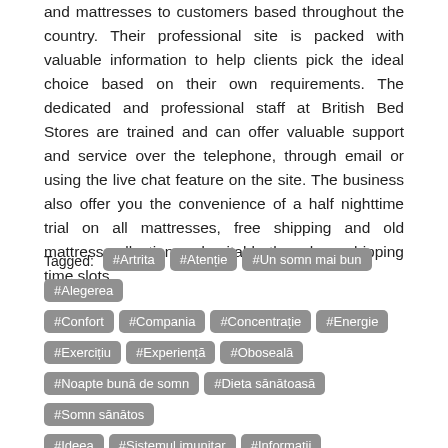and mattresses to customers based throughout the country. Their professional site is packed with valuable information to help clients pick the ideal choice based on their own requirements. The dedicated and professional staff at British Bed Stores are trained and can offer valuable support and service over the telephone, through email or using the live chat feature on the site. The business also offer you the convenience of a half nighttime trial on all mattresses, free shipping and old mattress collection and suitable three hour shipping time slots.
Tagged: #Artrita #Atenție #Un somn mai bun #Alegerea #Confort #Compania #Concentrație #Energie #Exercițiu #Experiență #Obosealā #Noapte bunā de somn #Dieta sānātoasā #Somn sānātos #Ideea #Sistemul imunitar #Informații #Cunoștințe #Viața #Memorie #Ajutor natural pentru somn